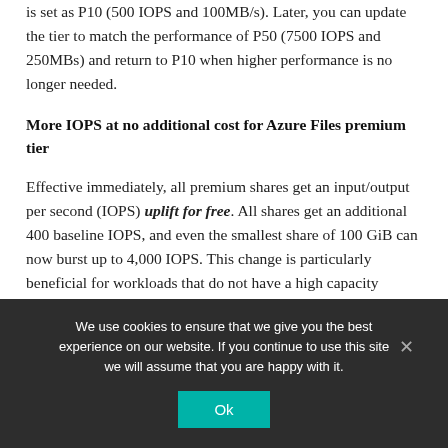is set as P10 (500 IOPS and 100MB/s). Later, you can update the tier to match the performance of P50 (7500 IOPS and 250MBs) and return to P10 when higher performance is no longer needed.
More IOPS at no additional cost for Azure Files premium tier
Effective immediately, all premium shares get an input/output per second (IOPS) uplift for free. All shares get an additional 400 baseline IOPS, and even the smallest share of 100 GiB can now burst up to 4,000 IOPS. This change is particularly beneficial for workloads that do not have a high capacity requirement but need extra performance to accommodate
We use cookies to ensure that we give you the best experience on our website. If you continue to use this site we will assume that you are happy with it.